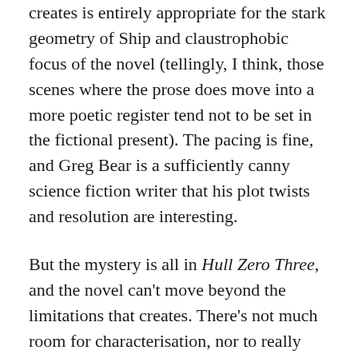creates is entirely appropriate for the stark geometry of Ship and claustrophobic focus of the novel (tellingly, I think, those scenes where the prose does move into a more poetic register tend not to be set in the fictional present). The pacing is fine, and Greg Bear is a sufficiently canny science fiction writer that his plot twists and resolution are interesting.
But the mystery is all in Hull Zero Three, and the novel can't move beyond the limitations that creates. There's not much room for characterisation, nor to really explore the moral issues raised by the situation. And, even though Bear's narrative moves along at a fair old clip, three hundred pages still feels rather long for what it is.
Hull Zero Three is a novel that can sit happily on bookstore shelves and be pointed to as evidence that